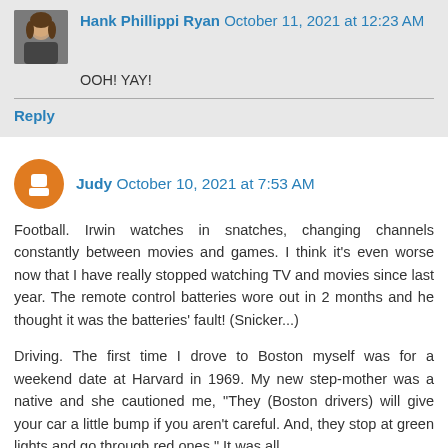Hank Phillippi Ryan  October 11, 2021 at 12:23 AM
OOH! YAY!
Reply
Judy  October 10, 2021 at 7:53 AM
Football. Irwin watches in snatches, changing channels constantly between movies and games. I think it's even worse now that I have really stopped watching TV and movies since last year. The remote control batteries wore out in 2 months and he thought it was the batteries' fault! (Snicker...)
Driving. The first time I drove to Boston myself was for a weekend date at Harvard in 1969. My new step-mother was a native and she cautioned me, "They (Boston drivers) will give your car a little bump if you aren't careful. And, they stop at green lights and go through red ones." It was all